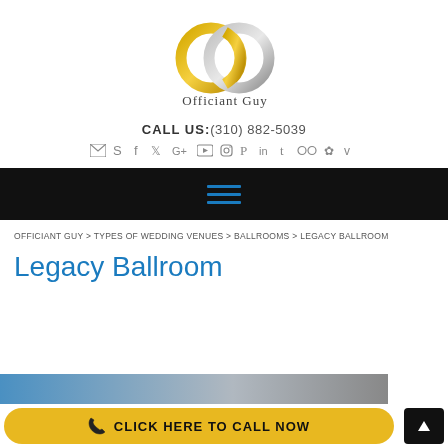[Figure (logo): Officiant Guy logo — two interlocking rings (gold and silver) with text 'Officiant Guy' below]
CALL US: (310) 882-5039
[Figure (infographic): Row of social media icons: email, Skype, Facebook, Twitter, Google+, YouTube, Instagram, Pinterest, LinkedIn, Tumblr, Flickr, Yelp, Vimeo]
[Figure (other): Black navigation bar with blue hamburger menu icon]
OFFICIANT GUY > TYPES OF WEDDING VENUES > BALLROOMS > LEGACY BALLROOM
Legacy Ballroom
CLICK HERE TO CALL NOW